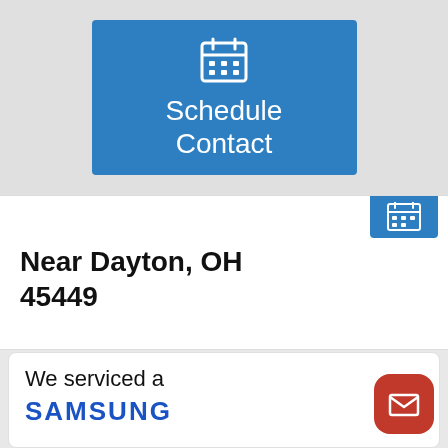[Figure (screenshot): Blue 'Schedule Contact' button with calendar icon on gray background]
Near Dayton, OH 45449
Job Details: 07/23/2021
Needs new magntron. No repair due to cost.
We serviced a
SAMSUNG